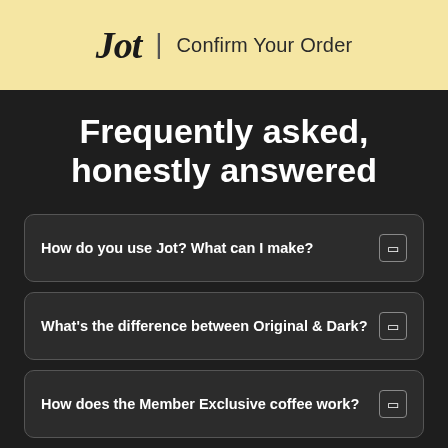Jot | Confirm Your Order
Frequently asked, honestly answered
How do you use Jot? What can I make?
What's the difference between Original & Dark?
How does the Member Exclusive coffee work?